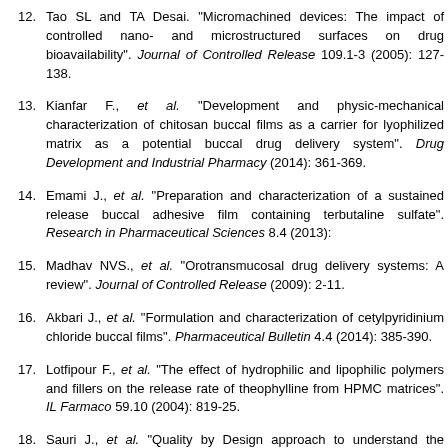12. Tao SL and TA Desai. "Micromachined devices: The impact of controlled nano- and microstructured surfaces on drug bioavailability". Journal of Controlled Release 109.1-3 (2005): 127-138.
13. Kianfar F., et al. "Development and physic-mechanical characterization of chitosan buccal films as a carrier for lyophilized matrix as a potential buccal drug delivery system". Drug Development and Industrial Pharmacy (2014): 361-369.
14. Emami J., et al. "Preparation and characterization of a sustained release buccal adhesive film containing terbutaline sulfate". Research in Pharmaceutical Sciences 8.4 (2013):
15. Madhav NVS., et al. "Orotransmucosal drug delivery systems: A review". Journal of Controlled Release (2009): 2-11.
16. Akbari J., et al. "Formulation and characterization of cetylpyridinium chloride buccal films". Jundishapur Journal of Natural Pharmaceutical Products / Pharmaceutical Bulletin 4.4 (2014): 385-390.
17. Lotfipour F., et al. "The effect of hydrophilic and lipophilic polymers and fillers on the release rate of theophylline from HPMC matrices". IL Farmaco 59.10 (2004): 819-25.
18. Sauri J., et al. "Quality by Design approach to understand the physicochemical phenomena involved in the controlled release of captopril SR matrix tablets". International Journal of Pharmaceutics.
19. Hogan JE. "Hydroxypropylmethylcellulose sustained release technology". Drug Development and Industrial Pharmacy 15.6-7 (1989): 975-999.